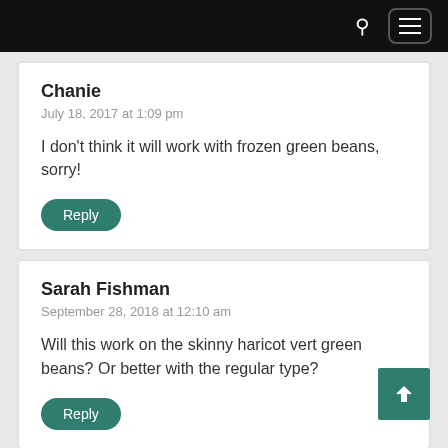Chanie
July 18, 2017 at 1:09 pm

I don't think it will work with frozen green beans, sorry!
Sarah Fishman
September 28, 2018 at 12:10 am

Will this work on the skinny haricot vert green beans? Or better with the regular type?